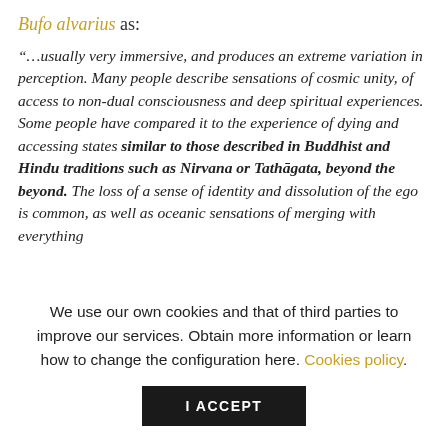Bufo alvarius as:
“…usually very immersive, and produces an extreme variation in perception. Many people describe sensations of cosmic unity, of access to non-dual consciousness and deep spiritual experiences. Some people have compared it to the experience of dying and accessing states similar to those described in Buddhist and Hindu traditions such as Nirvana or Tathāgata, beyond the beyond. The loss of a sense of identity and dissolution of the ego is common, as well as oceanic sensations of merging with everything
We use our own cookies and that of third parties to improve our services. Obtain more information or learn how to change the configuration here. Cookies policy.
I ACCEPT